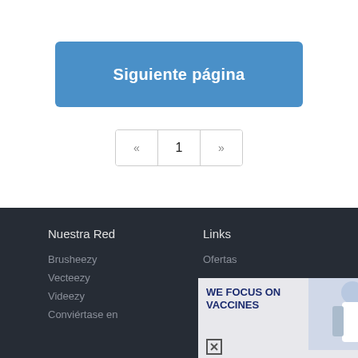Siguiente página
« 1 »
Nuestra Red
Links
Brusheezy
Vecteezy
Videezy
Conviértase en
Ofertas
[Figure (photo): Advertisement overlay with text 'WE FOCUS ON VACCINES' and a person in lab coat]